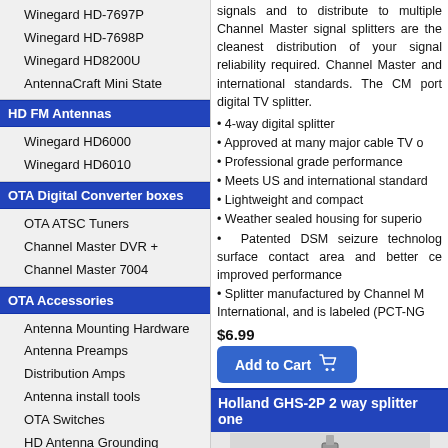Winegard HD-7697P
Winegard HD-7698P
Winegard HD8200U
AntennaCraft Mini State
HD FM Antennas
Winegard HD6000
Winegard HD6010
OTA Digital Converter boxes
OTA ATSC Tuners
Channel Master DVR +
Channel Master 7004
OTA Accessories
Antenna Mounting Hardware
Antenna Preamps
Distribution Amps
Antenna install tools
OTA Switches
HD Antenna Grounding
Channel Master Rotor
Antenna Towers
Commercial - MATV Systems
Commercial MATV systems
Taps
Distribution
signals and to distribute to multiple Channel Master signal splitters are the cleanest distribution of your signal reliability required. Channel Master and international standards. The CM port digital TV splitter.
• 4-way digital splitter
• Approved at many major cable TV o
• Professional grade performance
• Meets US and international standards
• Lightweight and compact
• Weather sealed housing for superior
• Patented DSM seizure technology surface contact area and better ce improved performance
• Splitter manufactured by Channel Master International, and is labeled (PCT-NG
$6.99
Add to Cart
Holland GHS-2P 2 way splitter one
[Figure (photo): Photo of GHS-2P splitter device]